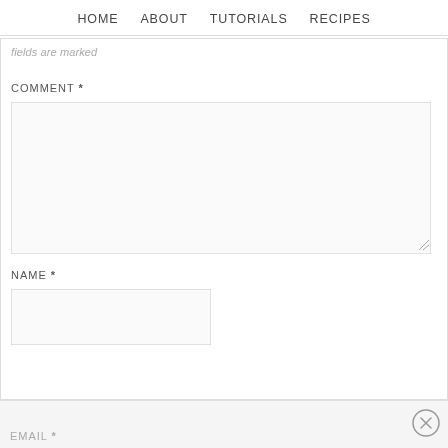HOME   ABOUT   TUTORIALS   RECIPES
fields are marked
COMMENT *
[Figure (screenshot): Large empty comment textarea input box]
NAME *
[Figure (screenshot): Name input field box]
[Figure (screenshot): Close (X) circle button in bottom right corner]
EMAIL *